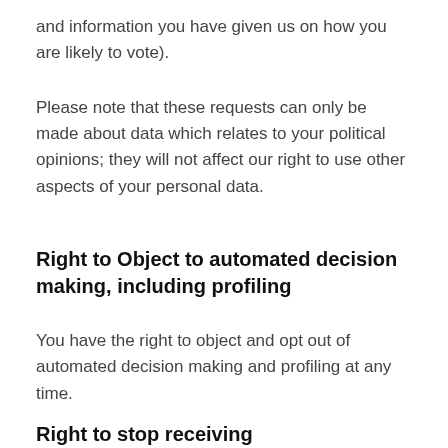and information you have given us on how you are likely to vote).
Please note that these requests can only be made about data which relates to your political opinions; they will not affect our right to use other aspects of your personal data.
Right to Object to automated decision making, including profiling
You have the right to object and opt out of automated decision making and profiling at any time.
Right to stop receiving communications
Whilst all of our direct marketing communications contain